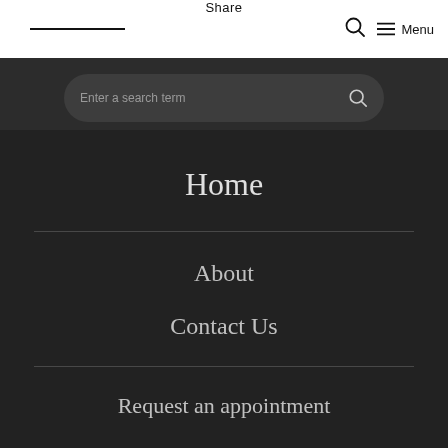Share  Menu
Enter a search term
Home
About
Contact Us
Request an appointment